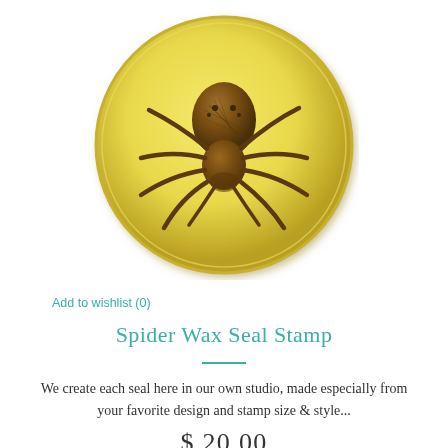[Figure (illustration): A gold circular wax seal stamp disc featuring an engraved spider design in dark bronze/brown tones on a shiny golden-yellow background. The spider has a large rounded body with eight legs splayed outward.]
Add to wishlist (0)
Spider Wax Seal Stamp
We create each seal here in our own studio, made especially from your favorite design and stamp size & style...
$ 20.00